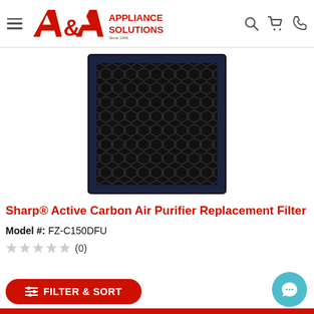A&A Appliance Solutions — navigation header with hamburger menu, logo, search, cart, and phone icons
[Figure (photo): Black hexagonal mesh carbon air purifier replacement filter on white background]
Sharp® Active Carbon Air Purifier Replacement Filter
Model #: FZ-C150DFU
☆☆☆☆☆ (0)
FILTER & SORT